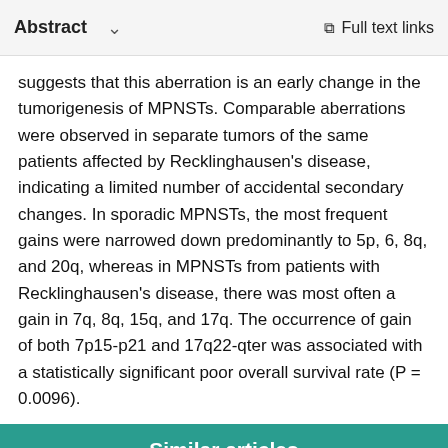Abstract  ∨  Full text links
suggests that this aberration is an early change in the tumorigenesis of MPNSTs. Comparable aberrations were observed in separate tumors of the same patients affected by Recklinghausen's disease, indicating a limited number of accidental secondary changes. In sporadic MPNSTs, the most frequent gains were narrowed down predominantly to 5p, 6, 8q, and 20q, whereas in MPNSTs from patients with Recklinghausen's disease, there was most often a gain in 7q, 8q, 15q, and 17q. The occurrence of gain of both 7p15-p21 and 17q22-qter was associated with a statistically significant poor overall survival rate (P = 0.0096).
Similar articles
Gains in chromosomes 7, 8q, 15q and 17q are